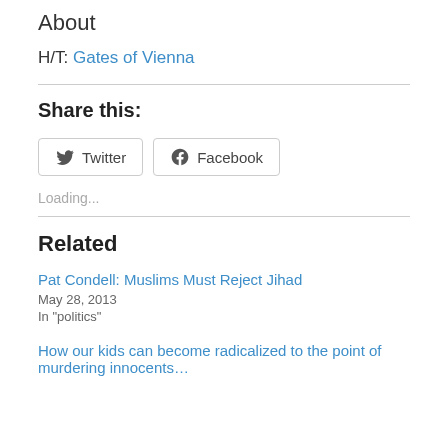About
H/T: Gates of Vienna
Share this:
Loading...
Related
Pat Condell: Muslims Must Reject Jihad
May 28, 2013
In "politics"
How our kids can become radicalized to the point of murdering innocents…